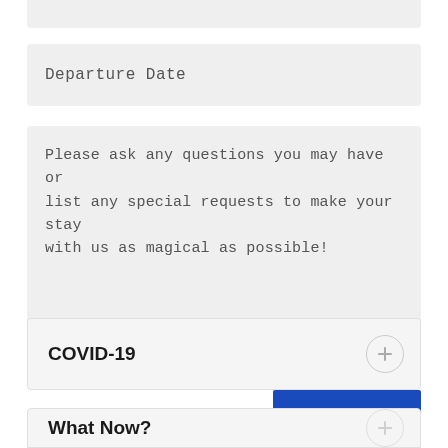Departure Date
Please ask any questions you may have or list any special requests to make your stay with us as magical as possible!
INQUIRE
COVID-19
What Now?